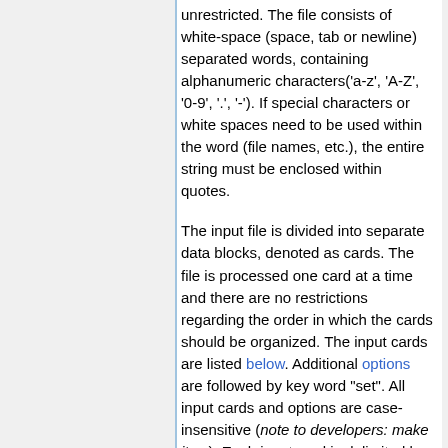unrestricted. The file consists of white-space (space, tab or newline) separated words, containing alphanumeric characters('a-z', 'A-Z', '0-9', '.', '-'). If special characters or white spaces need to be used within the word (file names, etc.), the entire string must be enclosed within quotes.
The input file is divided into separate data blocks, denoted as cards. The file is processed one card at a time and there are no restrictions regarding the order in which the cards should be organized. The input cards are listed below. Additional options are followed by key word "set". All input cards and options are case-insensitive (note to developers: make it so). Each input card is delimited by the beginning of the next card. It is hence important that none of the